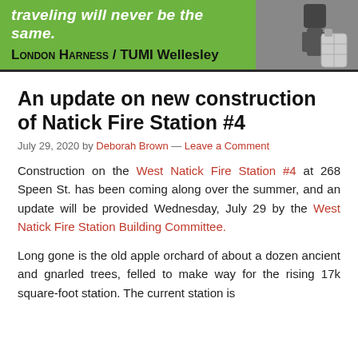[Figure (other): Advertisement banner for London Harness / TUMI Wellesley with green background, white italic text 'traveling will never be the same.' and a photo of a person with luggage on the right side.]
An update on new construction of Natick Fire Station #4
July 29, 2020 by Deborah Brown — Leave a Comment
Construction on the West Natick Fire Station #4 at 268 Speen St. has been coming along over the summer, and an update will be provided Wednesday, July 29 by the West Natick Fire Station Building Committee.
Long gone is the old apple orchard of about a dozen ancient and gnarled trees, felled to make way for the rising 17k square-foot station. The current station is